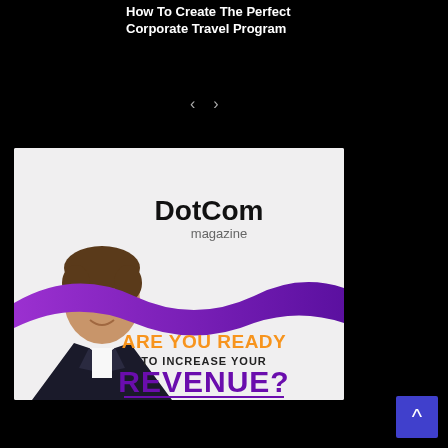How To Create The Perfect Corporate Travel Program
[Figure (illustration): DotCom Magazine advertisement featuring a man in a suit, DotCom Magazine logo, a purple wave design, and text reading 'ARE YOU READY TO INCREASE YOUR REVENUE?']